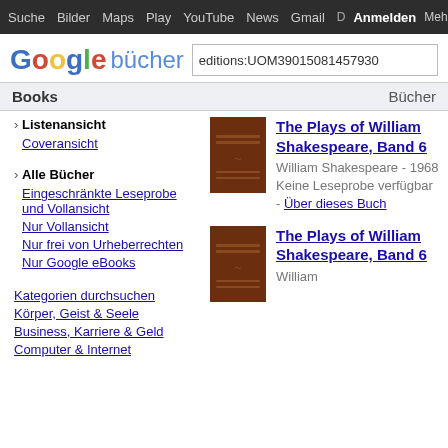Suche Bilder Maps Play YouTube News Gmail Anmelden Mehr ⚙
[Figure (logo): Google bücher logo with search box showing 'editions:UOM39015081457930']
Books | Bücher
› Listenansicht
Coveransicht
› Alle Bücher
Eingeschränkte Leseprobe und Vollansicht
Nur Vollansicht
Nur frei von Urheberrechten
Nur Google eBooks
Kategorien durchsuchen
Körper, Geist & Seele
Business, Karriere & Geld
Computer & Internet
[Figure (photo): Brown book cover for The Plays of William Shakespeare Band 6]
The Plays of William Shakespeare, Band 6
William Shakespeare - 1968
Keine Leseprobe verfügbar - Über dieses Buch
[Figure (photo): Brown book cover for The Plays of William Shakespeare Band 6 (second entry)]
The Plays of William Shakespeare, Band 6
William